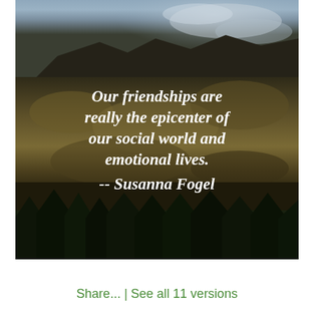[Figure (photo): Mountain landscape photo with dark rocky slope, forested lower area, and overcast sky. White italic bold quote text overlaid on the image reading: Our friendships are really the epicenter of our social world and emotional lives. -- Susanna Fogel]
Share...  |  See all 11 versions